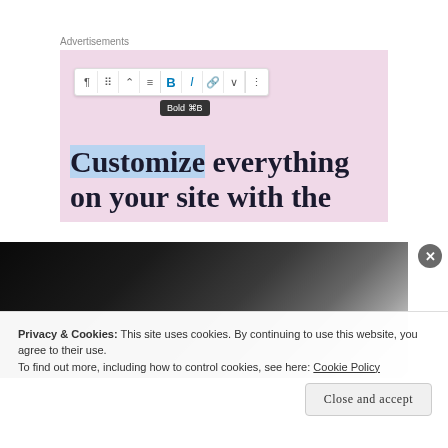[Figure (screenshot): Screenshot of a WordPress block editor showing a toolbar with Bold (⌘B) tooltip active, over a pink background with large serif text reading 'Customize everything on your site with the']
[Figure (photo): Dark photo of a hand holding or touching something, mostly black with light-colored fingers visible on the right side]
Privacy & Cookies: This site uses cookies. By continuing to use this website, you agree to their use.
To find out more, including how to control cookies, see here: Cookie Policy
Close and accept